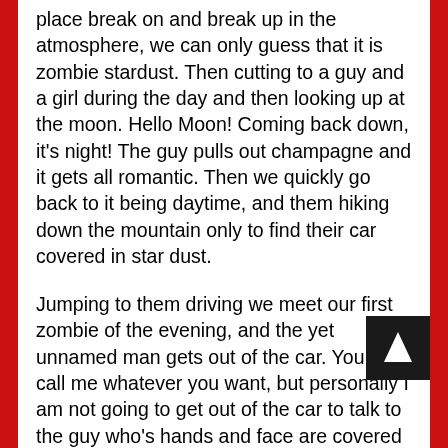place break on and break up in the atmosphere, we can only guess that it is zombie stardust. Then cutting to a guy and a girl during the day and then looking up at the moon. Hello Moon! Coming back down, it's night! The guy pulls out champagne and it gets all romantic. Then we quickly go back to it being daytime, and them hiking down the mountain only to find their car covered in star dust.
Jumping to them driving we meet our first zombie of the evening, and the yet unnamed man gets out of the car. You can call me whatever you want, but personally I am not going to get out of the car to talk to the guy who's hands and face are covered with blood. Even more silly, our unnamed friend has only a pocketknife as a weapon. Finally we learn his name is Steve, because his girlfriend distracts him long enough for him to get bit... ut oh... So, he ends up throwing the zombie down a hill, annnd losing the keys to the car in the process... My question is, why did he take them with him in the first place. It seems his thinking must be "Hey! If this guys over powers me honey, I